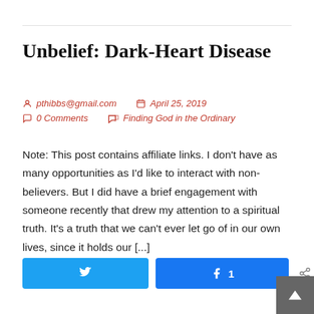Unbelief: Dark-Heart Disease
pthibbs@gmail.com   April 25, 2019   0 Comments   Finding God in the Ordinary
Note: This post contains affiliate links. I don't have as many opportunities as I'd like to interact with non-believers. But I did have a brief engagement with someone recently that drew my attention to a spiritual truth. It's a truth that we can't ever let go of in our own lives, since it holds our [...]
[Figure (other): Social share buttons: Twitter button, Facebook button with count '1', and a share icon with count '1']